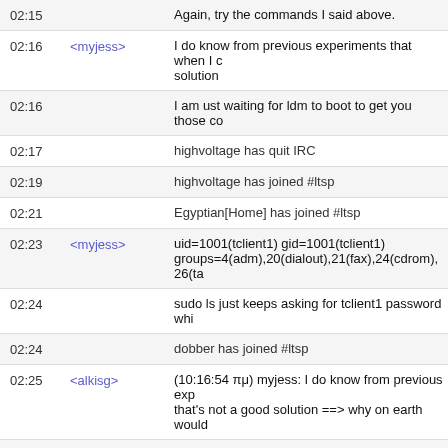02:15 | | Again, try the commands I said above.
02:16 | <myjess> | I do know from previous experiments that when I c... solution
02:16 | | I am ust waiting for ldm to boot to get you those co...
02:17 | highvoltage has quit IRC
02:19 | highvoltage has joined #ltsp
02:21 | Egyptian[Home] has joined #ltsp
02:23 | <myjess> | uid=1001(tclient1) gid=1001(tclient1) groups=4(adm),20(dialout),21(fax),24(cdrom),26(ta...
02:24 | | sudo ls just keeps asking for tclient1 password whi...
02:24 | dobber has joined #ltsp
02:25 | <alkisg> | (10:16:54 πμ) myjess: I do know from previous exp... that's not a good solution ==> why on earth would
02:25 | | The users logon to the server. You don't need to m...